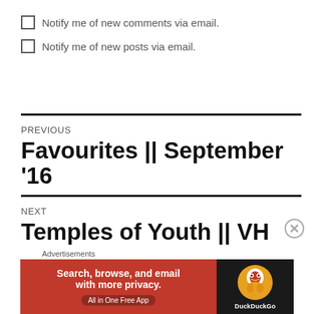Notify me of new comments via email.
Notify me of new posts via email.
PREVIOUS
Favourites || September '16
NEXT
Temples of Youth || VH Artist
Advertisements
[Figure (screenshot): DuckDuckGo advertisement banner: orange background with text 'Search, browse, and email with more privacy. All in One Free App' and DuckDuckGo duck logo on dark background.]